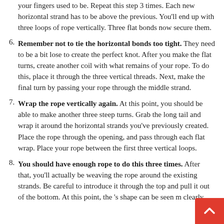your fingers used to be. Repeat this step 3 times. Each new horizontal strand has to be above the previous. You’ll end up with three loops of rope vertically. Three flat bonds now secure them.
6. Remember not to tie the horizontal bonds too tight. They need to be a bit lose to create the perfect knot. After you make the flat turns, create another coil with what remains of your rope. To do this, place it through the three vertical threads. Next, make the final turn by passing your rope through the middle strand.
7. Wrap the rope vertically again. At this point, you should be able to make another three steep turns. Grab the long tail and wrap it around the horizontal strands you’ve previously created. Place the rope through the opening, and pass through each flat wrap. Place your rope between the first three vertical loops.
8. You should have enough rope to do this three times. After that, you’ll actually be weaving the rope around the existing strands. Be careful to introduce it through the top and pull it out of the bottom. At this point, the ’s shape can be seen m clearly.